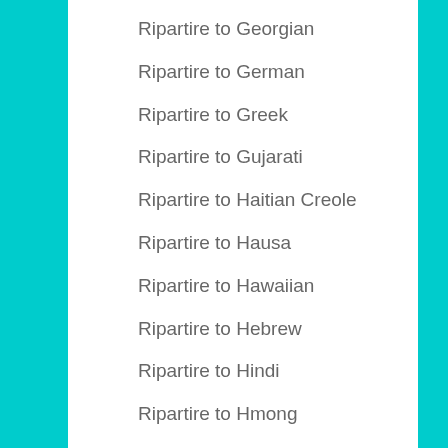Ripartire to Georgian
Ripartire to German
Ripartire to Greek
Ripartire to Gujarati
Ripartire to Haitian Creole
Ripartire to Hausa
Ripartire to Hawaiian
Ripartire to Hebrew
Ripartire to Hindi
Ripartire to Hmong
Ripartire to Hungarian
Ripartire to Icelandic
Ripartire to Igbo
Ripartire to Indonesian